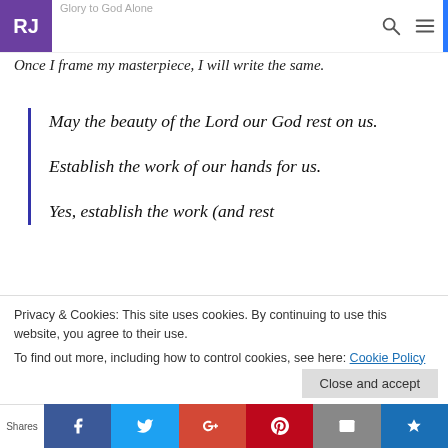Glory to God Alone — RJ logo, search and menu icons
Once I frame my masterpiece, I will write the same.
May the beauty of the Lord our God rest on us.
Establish the work of our hands for us.
Yes, establish the work (and rest
Privacy & Cookies: This site uses cookies. By continuing to use this website, you agree to their use.
To find out more, including how to control cookies, see here: Cookie Policy
Shares | Facebook | Twitter | Google+ | Pinterest | Email | Kindle